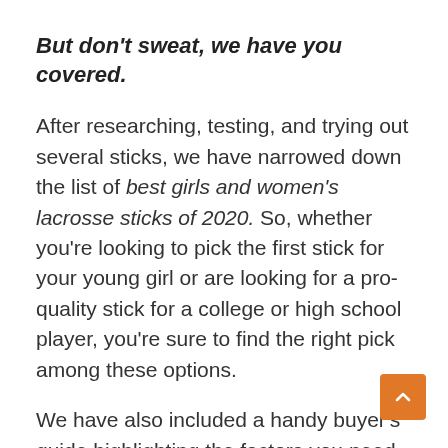But don't sweat, we have you covered.
After researching, testing, and trying out several sticks, we have narrowed down the list of best girls and women's lacrosse sticks of 2020. So, whether you're looking to pick the first stick for your young girl or are looking for a pro-quality stick for a college or high school player, you're sure to find the right pick among these options.
We have also included a handy buyer's guide highlighting the factors you need to consider while picking a girl's lacrosse sti